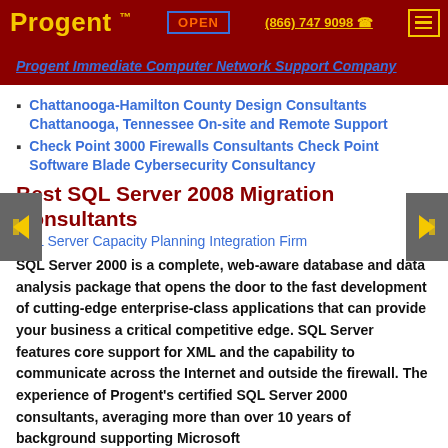Progent ™  OPEN  (866) 747 9098  ☎
Progent Immediate Computer Network Support Company
Chattanooga-Hamilton County Design Consultants Chattanooga, Tennessee On-site and Remote Support
Check Point 3000 Firewalls Consultants Check Point Software Blade Cybersecurity Consultancy
Best SQL Server 2008 Migration Consultants
SQL Server Capacity Planning Integration Firm
SQL Server 2000 is a complete, web-aware database and data analysis package that opens the door to the fast development of cutting-edge enterprise-class applications that can provide your business a critical competitive edge. SQL Server features core support for XML and the capability to communicate across the Internet and outside the firewall. The experience of Progent's certified SQL Server 2000 consultants, averaging more than over 10 years of background supporting Microsoft